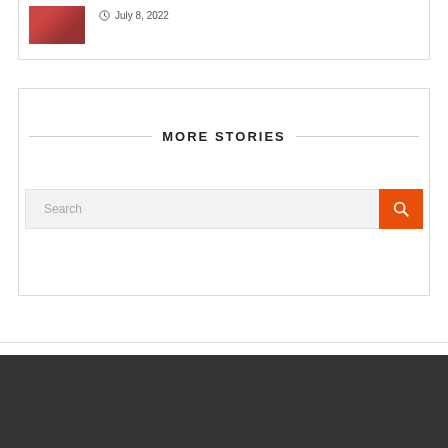[Figure (photo): Small thumbnail image of a person, partial view, top-left of card]
July 8, 2022
MORE STORIES
Search